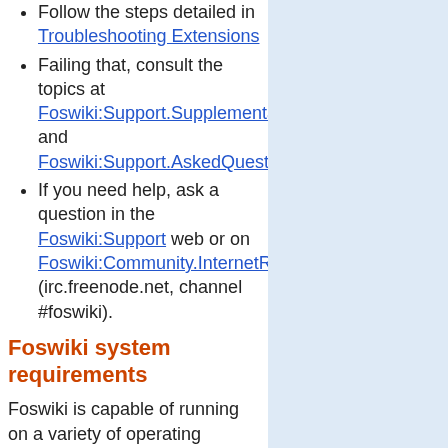Follow the steps detailed in Troubleshooting Extensions
Failing that, consult the topics at Foswiki:Support.Supplemental and Foswiki:Support.AskedQuestio…
If you need help, ask a question in the Foswiki:Support web or on Foswiki:Community.InternetRe… (irc.freenode.net, channel #foswiki).
Foswiki system requirements
Foswiki is capable of running on a variety of operating systems and supporting a wide range of browsers, due to its minimal client and server requirements.